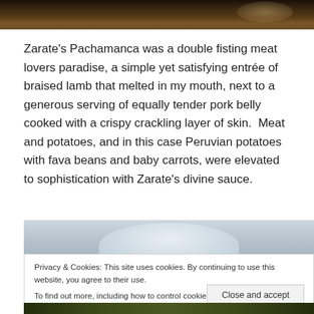[Figure (photo): Top portion of a food photo showing a dark colored dish, likely braised meat, partially visible at the top of the page.]
Zarate’s Pachamanca was a double fisting meat lovers paradise, a simple yet satisfying entrée of braised lamb that melted in my mouth, next to a generous serving of equally tender pork belly cooked with a crispy crackling layer of skin.  Meat and potatoes, and in this case Peruvian potatoes with fava beans and baby carrots, were elevated to sophistication with Zarate’s divine sauce.
[Figure (photo): Photo of a white bowl or dish partially visible in the middle of the page.]
Privacy & Cookies: This site uses cookies. By continuing to use this website, you agree to their use.
To find out more, including how to control cookies, see here: Cookie Policy
Close and accept
[Figure (photo): Bottom portion of another food photo partially visible at the bottom of the page.]